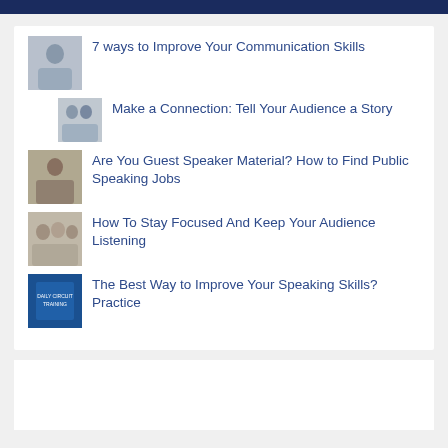7 ways to Improve Your Communication Skills
Make a Connection: Tell Your Audience a Story
Are You Guest Speaker Material? How to Find Public Speaking Jobs
How To Stay Focused And Keep Your Audience Listening
The Best Way to Improve Your Speaking Skills? Practice